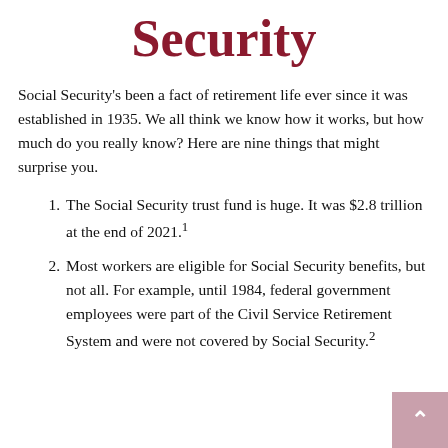Security
Social Security's been a fact of retirement life ever since it was established in 1935. We all think we know how it works, but how much do you really know? Here are nine things that might surprise you.
The Social Security trust fund is huge. It was $2.8 trillion at the end of 2021.¹
Most workers are eligible for Social Security benefits, but not all. For example, until 1984, federal government employees were part of the Civil Service Retirement System and were not covered by Social Security.²